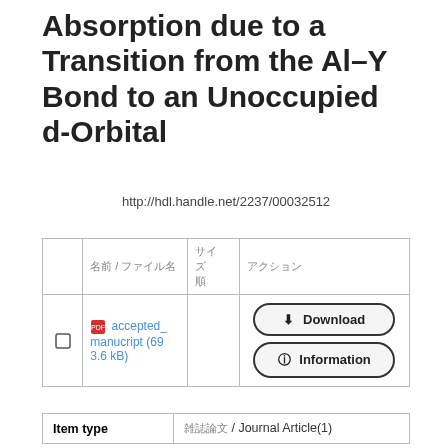Absorption due to a Transition from the Al–Y Bond to an Unoccupied d-Orbital
http://hdl.handle.net/2237/00032512
|  |  |  |  |
| --- | --- | --- | --- |
| ☐ | [garbled] / [garbled] | [garbled] | [garbled] |
| ☐ | accepted_manuscript (693.6 kB) |  | Download / Information |
| Item type | [garbled] / Journal Article(1) |
| --- | --- |